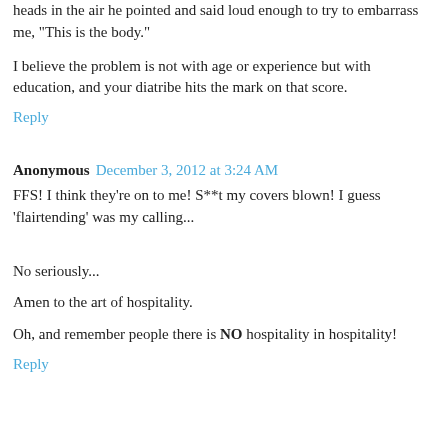heads in the air he pointed and said loud enough to try to embarrass me, "This is the body."
I believe the problem is not with age or experience but with education, and your diatribe hits the mark on that score.
Reply
Anonymous  December 3, 2012 at 3:24 AM
FFS! I think they're on to me! S**t my covers blown! I guess 'flairtending' was my calling...
No seriously...
Amen to the art of hospitality.
Oh, and remember people there is NO hospitality in hospitality!
Reply